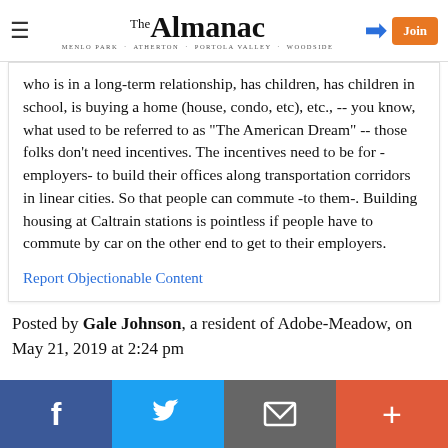The Almanac — Menlo Park · Atherton · Portola Valley · Woodside
who is in a long-term relationship, has children, has children in school, is buying a home (house, condo, etc), etc., -- you know, what used to be referred to as "The American Dream" -- those folks don't need incentives. The incentives need to be for -employers- to build their offices along transportation corridors in linear cities. So that people can commute -to them-. Building housing at Caltrain stations is pointless if people have to commute by car on the other end to get to their employers.
Report Objectionable Content
Posted by Gale Johnson, a resident of Adobe-Meadow, on May 21, 2019 at 2:24 pm